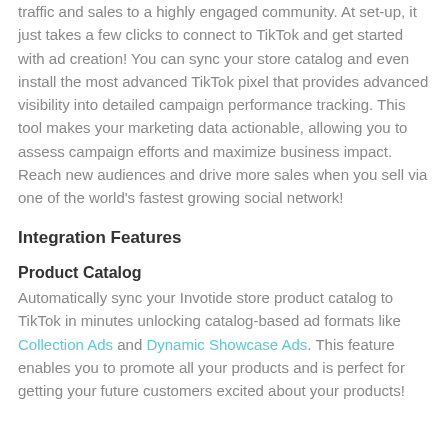traffic and sales to a highly engaged community. At set-up, it just takes a few clicks to connect to TikTok and get started with ad creation! You can sync your store catalog and even install the most advanced TikTok pixel that provides advanced visibility into detailed campaign performance tracking. This tool makes your marketing data actionable, allowing you to assess campaign efforts and maximize business impact. Reach new audiences and drive more sales when you sell via one of the world's fastest growing social network!
Integration Features
Product Catalog
Automatically sync your Invotide store product catalog to TikTok in minutes unlocking catalog-based ad formats like Collection Ads and Dynamic Showcase Ads. This feature enables you to promote all your products and is perfect for getting your future customers excited about your products!